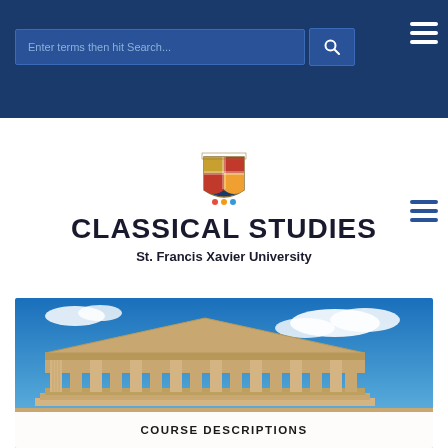Enter terms then hit Search...
CLASSICAL STUDIES
St. Francis Xavier University
[Figure (photo): Photograph of ancient Greek temple (Parthenon) ruins with columns against a blue sky with white clouds]
COURSE DESCRIPTIONS